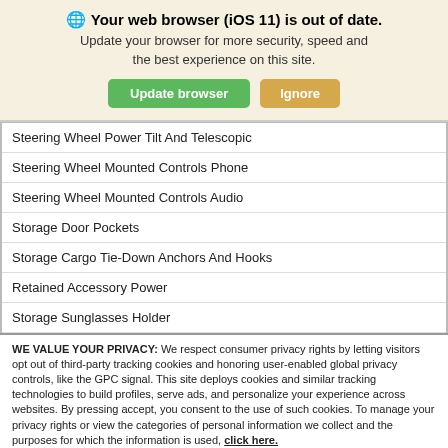[Figure (screenshot): Browser update notification banner with globe icon, bold text 'Your web browser (iOS 11) is out of date.', subtitle text, and two buttons: green 'Update browser' and tan 'Ignore']
| Steering Wheel Power Tilt And Telescopic |
| Steering Wheel Mounted Controls Phone |
| Steering Wheel Mounted Controls Audio |
| Storage Door Pockets |
| Storage Cargo Tie-Down Anchors And Hooks |
| Retained Accessory Power |
| Storage Sunglasses Holder |
WE VALUE YOUR PRIVACY: We respect consumer privacy rights by letting visitors opt out of third-party tracking cookies and honoring user-enabled global privacy controls, like the GPC signal. This site deploys cookies and similar tracking technologies to build profiles, serve ads, and personalize your experience across websites. By pressing accept, you consent to the use of such cookies. To manage your privacy rights or view the categories of personal information we collect and the purposes for which the information is used, click here.
Language: English  ∨  Powered by ComplyAuto
Accept and Continue →   Privacy Policy   ×